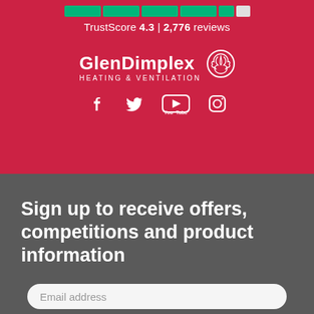[Figure (other): TrustPilot rating bar showing green star bars and partial bar. TrustScore 4.3 | 2,776 reviews]
TrustScore 4.3 | 2,776 reviews
[Figure (logo): Glen Dimplex Heating & Ventilation logo with knot icon, followed by social media icons: Facebook, Twitter, YouTube, Instagram]
Sign up to receive offers, competitions and product information
Email address